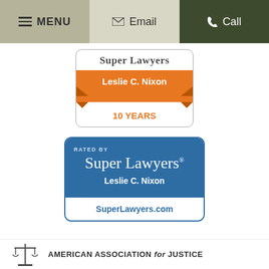MENU   Email   Call
[Figure (logo): Super Lawyers badge for Leslie C. Nixon - 10 Years]
[Figure (logo): Rated by Super Lawyers badge - Leslie C. Nixon - SuperLawyers.com]
[Figure (logo): American Association for Justice logo (partial)]